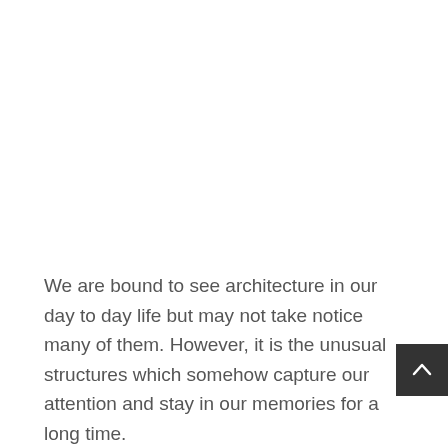We are bound to see architecture in our day to day life but may not take notice many of them. However, it is the unusual structures which somehow capture our attention and stay in our memories for a long time.